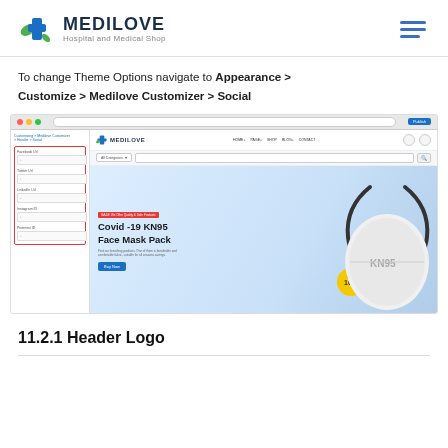MEDILOVE Hospital and Medical Shop
To change Theme Options navigate to Appearance > Customize > Medilove Customizer > Social
[Figure (screenshot): Screenshot of the Medilove WordPress theme customizer open alongside the Medilove website frontend, showing social media fields (Facebook URL, Twitter URL, LinkedIn URL, Instagram ID, Pinterest ID) highlighted with a red border in the left customizer panel, and a product hero banner for 'Covid -19 KN95 Face Mask Pack' with 'Only 10%' discount badge on the right.]
11.2.1 Header Logo